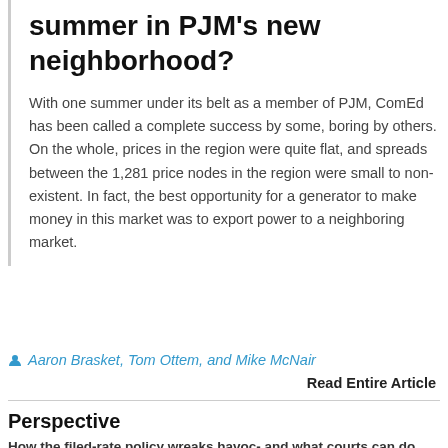summer in PJM's new neighborhood?
With one summer under its belt as a member of PJM, ComEd has been called a complete success by some, boring by others. On the whole, prices in the region were quite flat, and spreads between the 1,281 price nodes in the region were small to non-existent. In fact, the best opportunity for a generator to make money in this market was to export power to a neighboring market.
Aaron Brasket, Tom Ottem, and Mike McNair
Read Entire Article
Perspective
How the filed-rate policy wreaks havoc- and what courts can do about it.